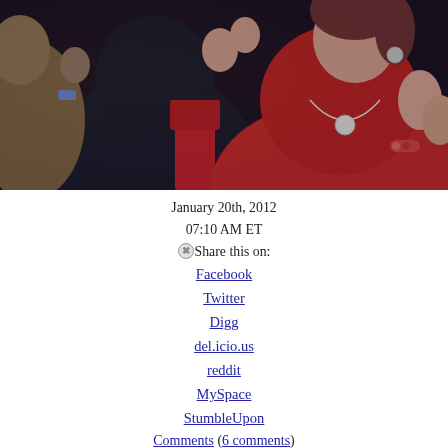[Figure (photo): Crowd of people clapping at a political debate event, including a woman in a red turtleneck and black jacket with a necklace, and others in the background.]
January 20th, 2012
07:10 AM ET
ⓇShare this on:
Facebook
Twitter
Digg
del.icio.us
reddit
MySpace
StumbleUpon
Comments (6 comments)
11 years ago
South Carolina debate: The view from the